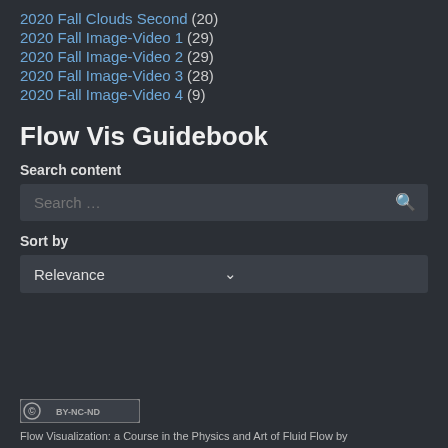2020 Fall Clouds Second (20)
2020 Fall Image-Video 1 (29)
2020 Fall Image-Video 2 (29)
2020 Fall Image-Video 3 (28)
2020 Fall Image-Video 4 (9)
Flow Vis Guidebook
Search content
Search …
Sort by
Relevance
[Figure (logo): Creative Commons CC BY-NC-ND badge]
Flow Visualization: a Course in the Physics and Art of Fluid Flow by